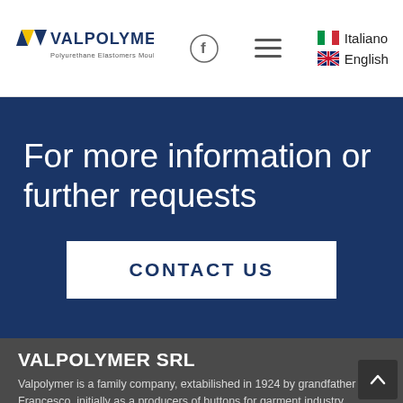[Figure (logo): Valpolymer logo with blue and yellow V shape and company name, Facebook icon, hamburger menu, Italian flag with 'Italiano' text, UK flag with 'English' text]
For more information or further requests
CONTACT US
VALPOLYMER SRL
Valpolymer is a family company, extabilished in 1924 by grandfather Francesco, initially as a producers of buttons for garment industry.